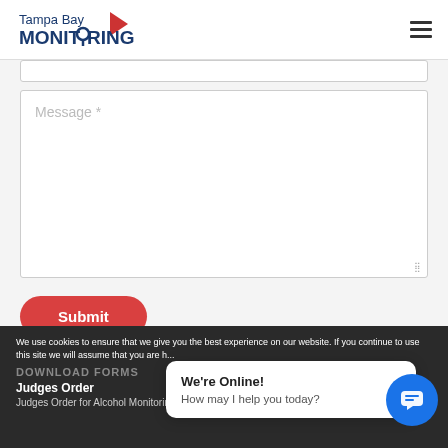Tampa Bay MONITORING
[Figure (screenshot): Message text input area (textarea) with placeholder text 'Message *' and a Submit button below]
We use cookies to ensure that we give you the best experience on our website. If you continue to use this site we will assume that you are h...
DOWNLOAD FORMS
Judges Order
Judges Order for Alcohol Monitoring N
We're Online! How may I help you today?